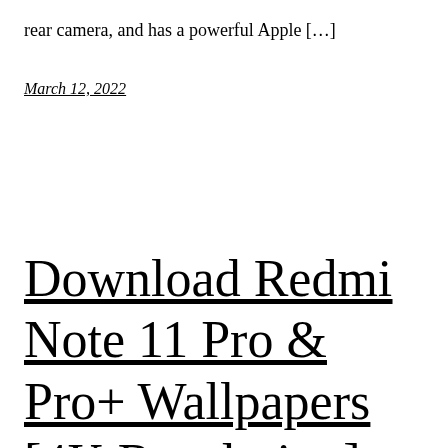rear camera, and has a powerful Apple […]
March 12, 2022
Download Redmi Note 11 Pro & Pro+ Wallpapers [4K Resolution]